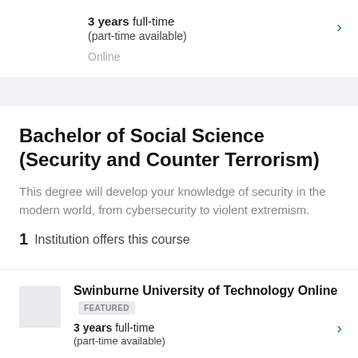3 years full-time (part-time available)
Online
Bachelor of Social Science (Security and Counter Terrorism)
This degree will develop your knowledge of security in the modern world, from cybersecurity to violent extremism.
1  Institution offers this course
Swinburne University of Technology Online  FEATURED
3 years full-time (part-time available)